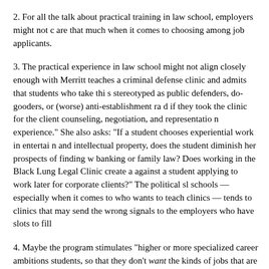2. For all the talk about practical training in law school, employers might not care that much when it comes to choosing among job applicants.
3. The practical experience in law school might not align closely enough with Merritt teaches a criminal defense clinic and admits that students who take this stereotyped as public defenders, do-gooders, or (worse) anti-establishment rad if they took the clinic for the client counseling, negotiation, and representation experience." She also asks: "If a student chooses experiential work in entertain and intellectual property, does the student diminish her prospects of finding w banking or family law? Does working in the Black Lung Legal Clinic create a against a student applying to work later for corporate clients?" The political sl schools — especially when it comes to who wants to teach clinics — tends to clinics that may send the wrong signals to the employers who have slots to fill
4. Maybe the program stimulates "higher or more specialized career ambitions students, so that they don't want the kinds of jobs that are available. The actua law — as experienced by most lawyers — might not be what these supposedly ready" graduates want to do.